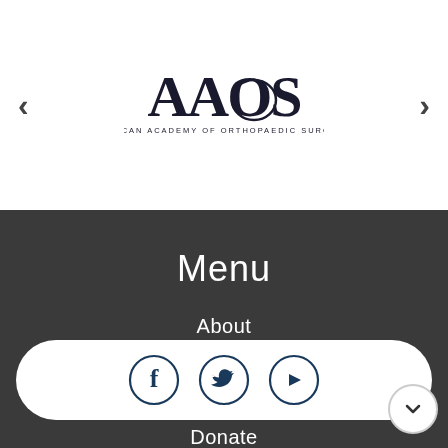[Figure (logo): AAOS American Academy of Orthopaedic Surgeons logo]
Menu
About
Faculty
Media
Donate
Professionals
[Figure (illustration): Social media icons bar with Facebook, Twitter, and YouTube circle icons on a white pill-shaped background]